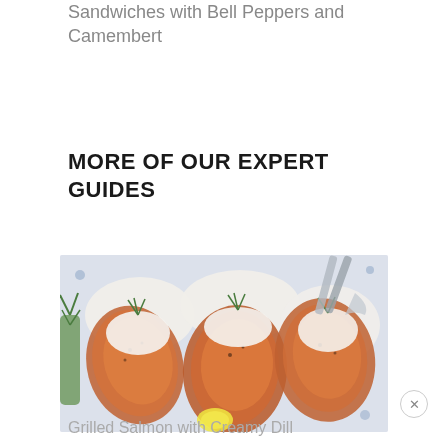Sandwiches with Bell Peppers and Camembert
MORE OF OUR EXPERT GUIDES
[Figure (photo): Grilled salmon fillets topped with creamy dill sauce and fresh dill sprigs, served on a blue and white platter with lemon wedges and tongs]
Grilled Salmon with Creamy Dill